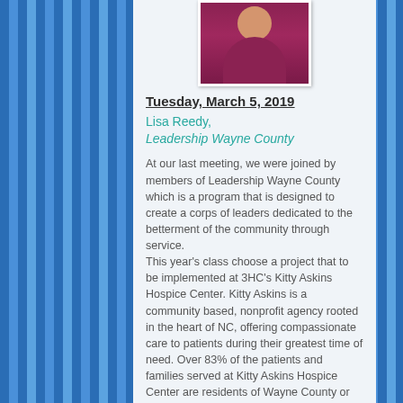[Figure (photo): Portrait photo of a woman in a dark pink/maroon top]
Tuesday, March 5, 2019
Lisa Reedy,
Leadership Wayne County
At our last meeting, we were joined by members of Leadership Wayne County which is a program that is designed to create a corps of leaders dedicated to the betterment of the community through service.
This year's class choose a project that to be implemented at 3HC's Kitty Askins Hospice Center. Kitty Askins is a community based, nonprofit agency rooted in the heart of NC, offering compassionate care to patients during their greatest time of need. Over 83% of the patients and families served at Kitty Askins Hospice Center are residents of Wayne County or